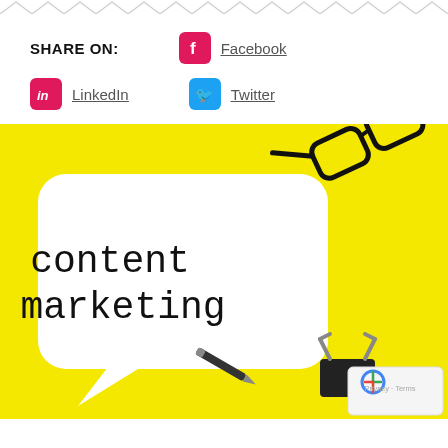SHARE ON:
Facebook
LinkedIn
Twitter
[Figure (photo): Photo of a yellow background with a white speech bubble containing the text 'content marketing' in handwritten style font, with glasses in the top right, a pen and binder clip at the bottom, and a reCAPTCHA badge overlay in the bottom right corner.]